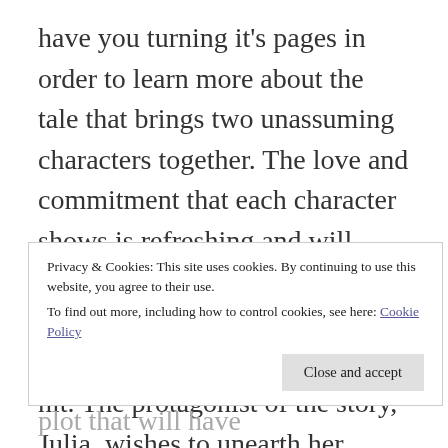have you turning it's pages in order to learn more about the tale that brings two unassuming characters together. The love and commitment that each character shows is refreshing and will leave you breathless. Originally written in German, it is not hard to see why this book was such a hit. The protagonist of the story, Julia, wishes to unearth her father's past after his sudden disappearance the day after her graduation. Spurred by her mother's indifference, and her father's mysterious personality, Julia travels to Burma in hopes to gain insight into the past her father had strictly hidden. Join Julia as she unravels a love
Privacy & Cookies: This site uses cookies. By continuing to use this website, you agree to their use.
To find out more, including how to control cookies, see here: Cookie Policy
bringing to life characters and a plot that will have